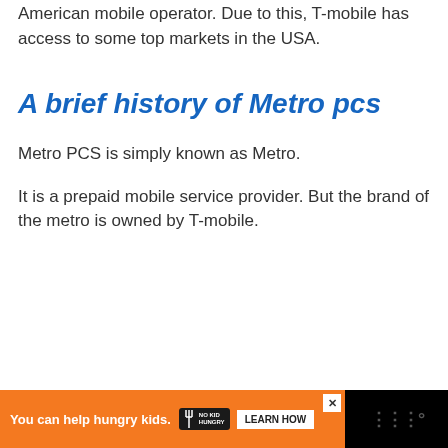American mobile operator. Due to this, T-mobile has access to some top markets in the USA.
A brief history of Metro pcs
Metro PCS is simply known as Metro.
It is a prepaid mobile service provider. But the brand of the metro is owned by T-mobile.
[Figure (other): Advertisement banner: orange background with text 'You can help hungry kids.' and No Kid Hungry logo with 'LEARN HOW' button. Black border with close (X) button.]